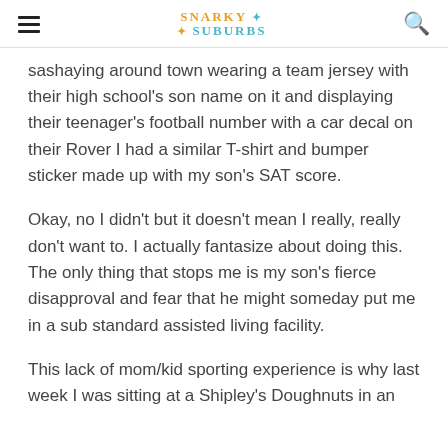Snarky in the Suburbs
sashaying around town wearing a team jersey with their high school's son name on it and displaying their teenager's football number with a car decal on their Rover I had a similar T-shirt and bumper sticker made up with my son's SAT score.
Okay, no I didn't but it doesn't mean I really, really don't want to. I actually fantasize about doing this. The only thing that stops me is my son's fierce disapproval and fear that he might someday put me in a sub standard assisted living facility.
This lack of mom/kid sporting experience is why last week I was sitting at a Shipley's Doughnuts in an